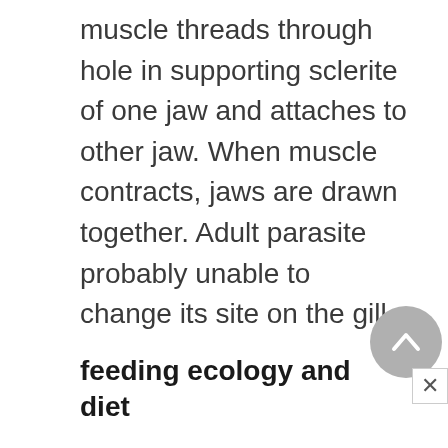muscle threads through hole in supporting sclerite of one jaw and attaches to other jaw. When muscle contracts, jaws are drawn together. Adult parasite probably unable to change its site on the gill.
feeding ecology and diet
Feeds on blood.
reproductive biology
Male copulatory organ probably serves for hypodermic (through the